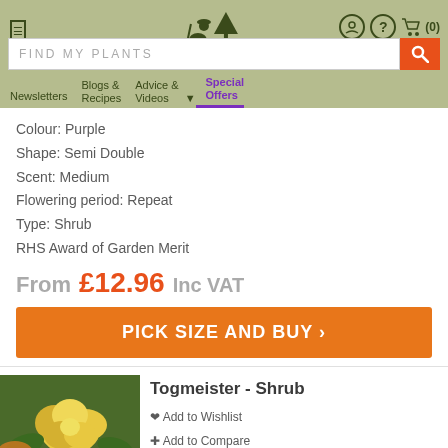[Figure (logo): Ashridge Nurseries logo with gardener figure and tree]
ASHRIDGE NURSERIES — search bar: FIND MY PLANTS — navigation: Newsletters | Blogs & Recipes | Advice & Videos | Special Offers
Colour: Purple
Shape: Semi Double
Scent: Medium
Flowering period: Repeat
Type: Shrub
RHS Award of Garden Merit
From £12.96 Inc VAT
PICK SIZE AND BUY ›
Togmeister - Shrub
Add to Wishlist
Add to Compare